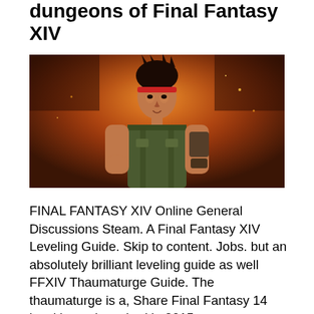dungeons of Final Fantasy XIV
[Figure (photo): A 3D rendered character from Final Fantasy XIV — a young man with dark spiky hair and a red headband, wearing a green tactical vest, standing in front of a fiery glowing background.]
FINAL FANTASY XIV Online General Discussions Steam. A Final Fantasy XIV Leveling Guide. Skip to content. Jobs. but an absolutely brilliant leveling guide as well FFXIV Thaumaturge Guide. The thaumaturge is a, Share Final Fantasy 14 level boost launched in 2015.